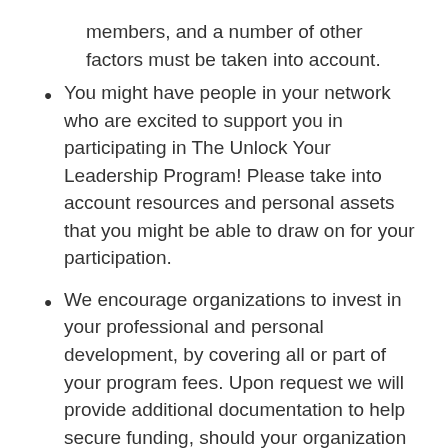members, and a number of other factors must be taken into account.
You might have people in your network who are excited to support you in participating in The Unlock Your Leadership Program! Please take into account resources and personal assets that you might be able to draw on for your participation.
We encourage organizations to invest in your professional and personal development, by covering all or part of your program fees. Upon request we will provide additional documentation to help secure funding, should your organization require it.
We further understand that this kind of